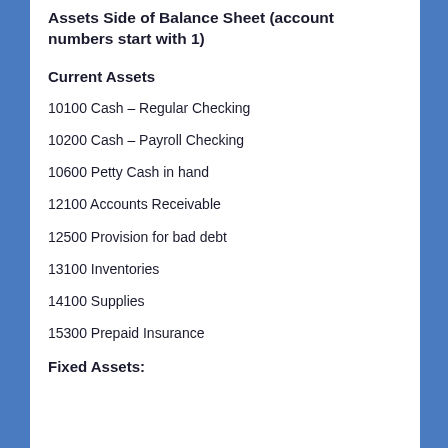Assets Side of Balance Sheet (account numbers start with 1)
Current Assets
10100 Cash – Regular Checking
10200 Cash – Payroll Checking
10600 Petty Cash in hand
12100 Accounts Receivable
12500 Provision for bad debt
13100 Inventories
14100 Supplies
15300 Prepaid Insurance
Fixed Assets: